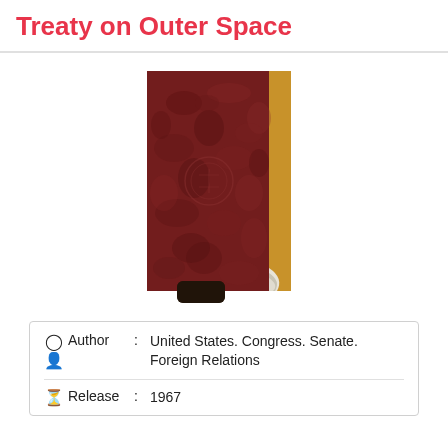Treaty on Outer Space
[Figure (photo): Photo of a dark maroon/burgundy book cover with a faint circular seal or stamp visible in the center, and a gold/yellow spine visible on the right edge. A dark hand is visible at the bottom holding or touching the book.]
Author : United States. Congress. Senate. Foreign Relations
Release : 1967